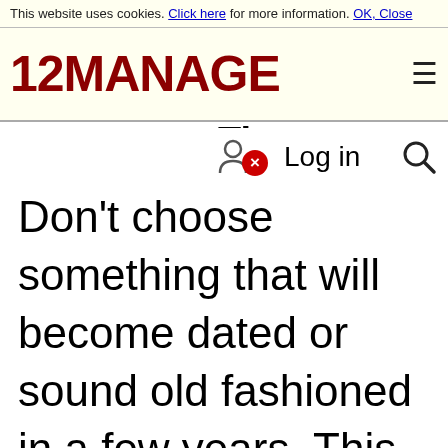This website uses cookies. Click here for more information. OK, Close
[Figure (logo): 12MANAGE logo in dark red bold text with hamburger menu icon]
Time
Log in
Don't choose something that will become dated or sound old fashioned in a few years. This is a